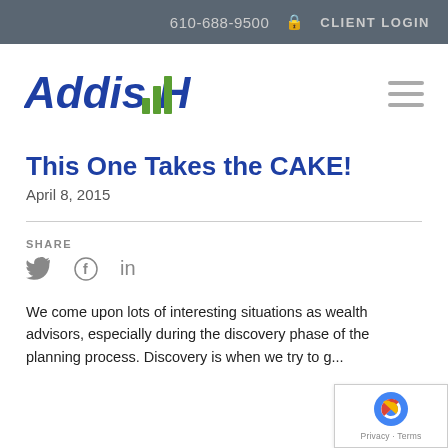610-688-9500   CLIENT LOGIN
[Figure (logo): Addis Hill logo with blue text and green bar chart icon]
This One Takes the CAKE!
April 8, 2015
SHARE
[Figure (infographic): Social share icons: Twitter bird, Facebook f, LinkedIn in]
We come upon lots of interesting situations as wealth advisors, especially during the discovery phase of the planning process.  Discovery is when we try to g...